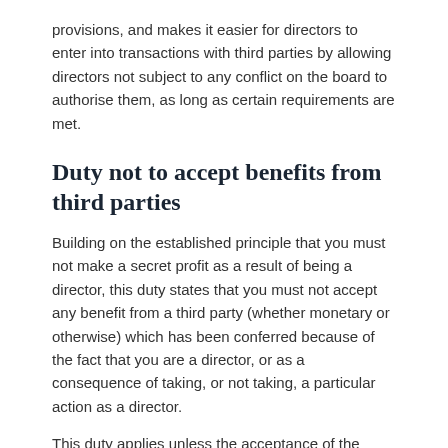provisions, and makes it easier for directors to enter into transactions with third parties by allowing directors not subject to any conflict on the board to authorise them, as long as certain requirements are met.
Duty not to accept benefits from third parties
Building on the established principle that you must not make a secret profit as a result of being a director, this duty states that you must not accept any benefit from a third party (whether monetary or otherwise) which has been conferred because of the fact that you are a director, or as a consequence of taking, or not taking, a particular action as a director.
This duty applies unless the acceptance of the